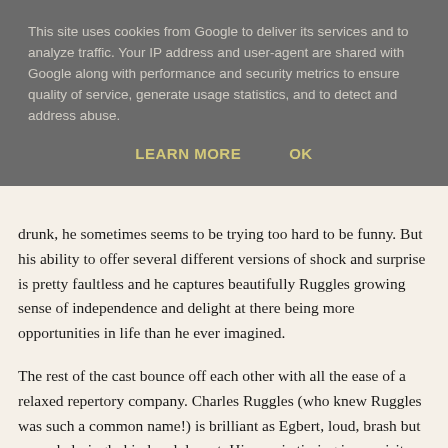This site uses cookies from Google to deliver its services and to analyze traffic. Your IP address and user-agent are shared with Google along with performance and security metrics to ensure quality of service, generate usage statistics, and to detect and address abuse.
LEARN MORE   OK
drunk, he sometimes seems to be trying too hard to be funny. But his ability to offer several different versions of shock and surprise is pretty faultless and he captures beautifully Ruggles growing sense of independence and delight at there being more opportunities in life than he ever imagined.
The rest of the cast bounce off each other with all the ease of a relaxed repertory company. Charles Ruggles (who knew Ruggles was such a common name!) is brilliant as Egbert, loud, brash but overwhelmingly kind and decent. His comic timing is exquisite and his chemistry with Mary Boland (one patient the other long suffering) is a constant delight. The comic playing of the cast, with assured – if at times visually disjointed – direction by Leo McCarey helps craft this into a